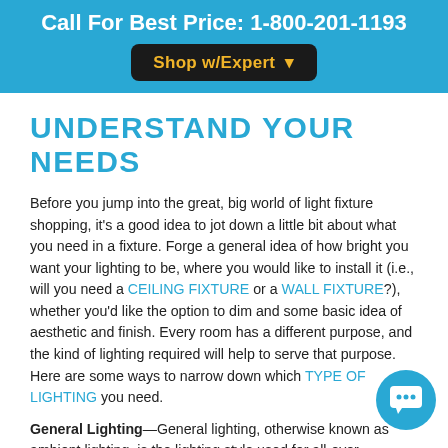Call For Best Price: 1-800-201-1193
Shop w/Expert ▾
UNDERSTAND YOUR NEEDS
Before you jump into the great, big world of light fixture shopping, it's a good idea to jot down a little bit about what you need in a fixture. Forge a general idea of how bright you want your lighting to be, where you would like to install it (i.e., will you need a CEILING FIXTURE or a WALL FIXTURE?), whether you'd like the option to dim and some basic idea of aesthetic and finish. Every room has a different purpose, and the kind of lighting required will help to serve that purpose. Here are some ways to narrow down which TYPE OF LIGHTING you need.
General Lighting—General lighting, otherwise known as ambient lighting, is the lighting style used for all-over illumination. Typically, general lighting will need to be...